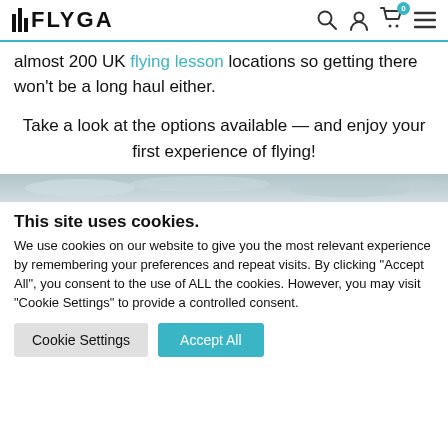FLYGA — navigation header with search, account, cart (0), and menu icons
almost 200 UK flying lesson locations so getting there won't be a long haul either.
Take a look at the options available — and enjoy your first experience of flying!
[Figure (photo): Sky and clouds panoramic image banner]
This site uses cookies.
We use cookies on our website to give you the most relevant experience by remembering your preferences and repeat visits. By clicking "Accept All", you consent to the use of ALL the cookies. However, you may visit "Cookie Settings" to provide a controlled consent.